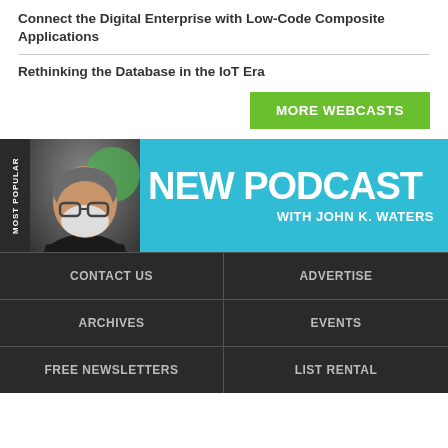Connect the Digital Enterprise with Low-Code Composite Applications
Rethinking the Database in the IoT Era
MORE WEBCASTS
[Figure (illustration): New Podcast with John K. Waters promotional banner with photo of man and green circle, on teal background]
|  |  |
| --- | --- |
| CONTACT US | ADVERTISE |
| ARCHIVES | EVENTS |
| FREE NEWSLETTERS | LIST RENTAL |